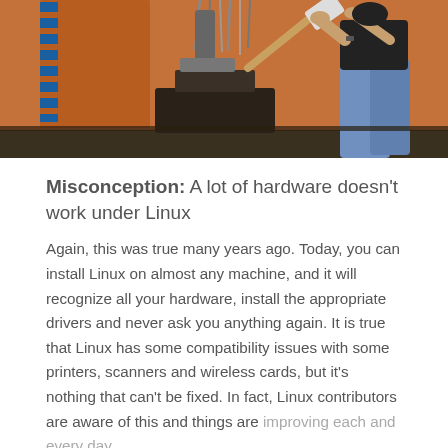[Figure (photo): Person swinging a large hammer/mallet onto an anvil with cables/wires on equipment in background, orange wall behind]
Misconception: A lot of hardware doesn't work under Linux
Again, this was true many years ago. Today, you can install Linux on almost any machine, and it will recognize all your hardware, install the appropriate drivers and never ask you anything again. It is true that Linux has some compatibility issues with some printers, scanners and wireless cards, but it's nothing that can't be fixed. In fact, Linux contributors are aware of this and things are improving each and every day.
And here's another thing, if you have sufficient knowledge…